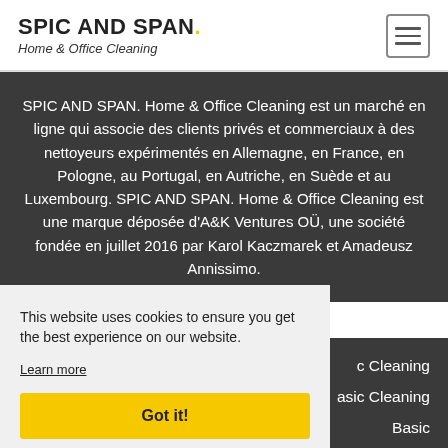SPIC AND SPAN. Home & Office Cleaning
SPIC AND SPAN. Home & Office Cleaning est un marché en ligne qui associe des clients privés et commerciaux à des nettoyeurs expérimentés en Allemagne, en France, en Pologne, au Portugal, en Autriche, en Suède et au Luxembourg. SPIC AND SPAN. Home & Office Cleaning est une marque déposée d'A&K Ventures OÜ, une société fondée en juillet 2016 par Karol Kaczmarek et Amadeusz Annissimo.
This website uses cookies to ensure you get the best experience on our website.
Learn more
Got it!
c Cleaning
asic Cleaning
Basic
Cleaning
> Contact Us